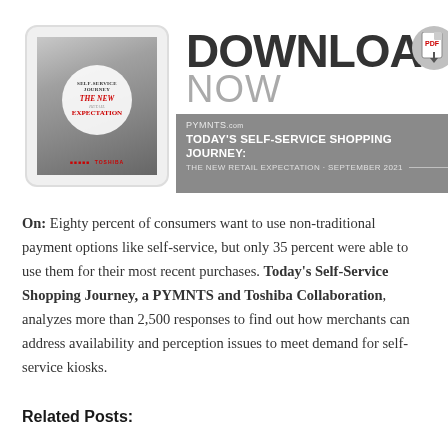[Figure (infographic): Download Now banner with tablet showing 'Today's Self-Service Shopping Journey: The New Retail Expectation' report cover, large DOWNLOAD NOW heading, PDF icon, and gray bar with PYMNTS.com branding and report title/date]
On: Eighty percent of consumers want to use non-traditional payment options like self-service, but only 35 percent were able to use them for their most recent purchases. Today's Self-Service Shopping Journey, a PYMNTS and Toshiba Collaboration, analyzes more than 2,500 responses to find out how merchants can address availability and perception issues to meet demand for self-service kiosks.
Related Posts: